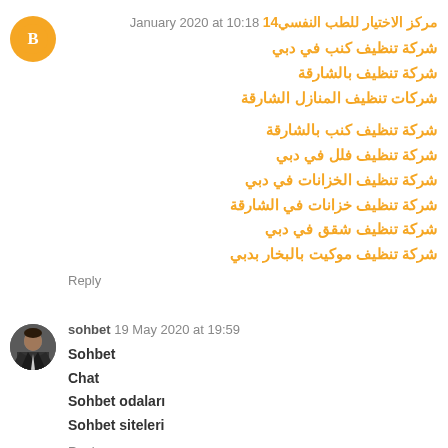مركز الاختيار للطب النفسي14 January 2020 at 10:18
شركة تنظيف كنب في دبي
شركة تنظيف بالشارقة
شركات تنظيف المنازل الشارقة
شركة تنظيف كنب بالشارقة
شركة تنظيف فلل في دبي
شركة تنظيف الخزانات في دبي
شركة تنظيف خزانات في الشارقة
شركة تنظيف شقق في دبي
شركة تنظيف موكيت بالبخار بدبي
Reply
sohbet 19 May 2020 at 19:59
Sohbet
Chat
Sohbet odaları
Sohbet siteleri
Reply